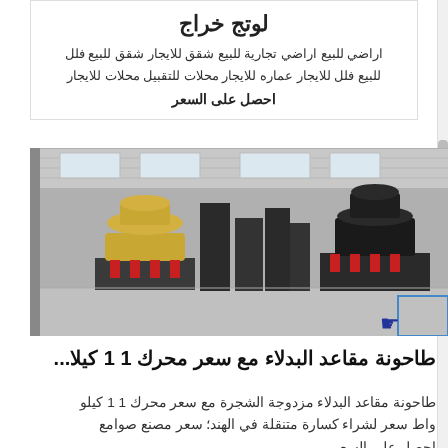لوتج خراج
اراضي للبيع اراضي تجارية للبيع شقق للايجار شقق للبيع فلل للبيع فلل للايجار عماره للايجار محلات للتقبيل محلات للايجار
احصل على السعر
[Figure (photo): Industrial factory floor with large cone crushers and heavy machinery equipment in a warehouse setting]
طاحونة مقاعد البدلاء مع سعر محرك 1 1 كيلا...
طاحونة مقاعد البدلاء مزدوجة الشجرة مع سعر محرك 1 1 كيلو واط سعر لشراء كسارة متنقلة في الهند؛ سعر مصنع صوامع احصل على السعر